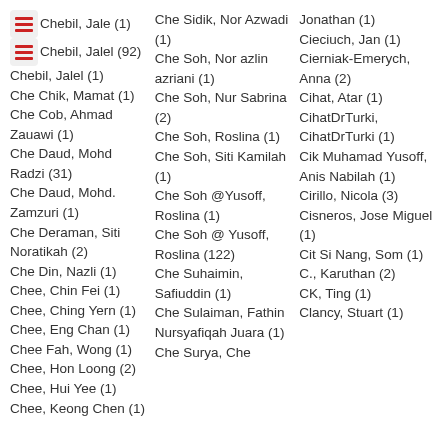Chebil, Jale (1)
Chebil, Jalel (92)
Chebil, Jalel (1)
Che Chik, Mamat (1)
Che Cob, Ahmad Zauawi (1)
Che Daud, Mohd Radzi (31)
Che Daud, Mohd. Zamzuri (1)
Che Deraman, Siti Noratikah (2)
Che Din, Nazli (1)
Chee, Chin Fei (1)
Chee, Ching Yern (1)
Chee, Eng Chan (1)
Chee Fah, Wong (1)
Chee, Hon Loong (2)
Chee, Hui Yee (1)
Chee, Keong Chen (1)
Che Sidik, Nor Azwadi (1)
Che Soh, Nor azlin azriani (1)
Che Soh, Nur Sabrina (2)
Che Soh, Roslina (1)
Che Soh, Siti Kamilah (1)
Che Soh @Yusoff, Roslina (1)
Che Soh @ Yusoff, Roslina (122)
Che Suhaimin, Safiuddin (1)
Che Sulaiman, Fathin Nursyafiqah Juara (1)
Che Surya, Che
Jonathan (1)
Cieciuch, Jan (1)
Cierniak-Emerych, Anna (2)
Cihat, Atar (1)
CihatDrTurki, CihatDrTurki (1)
Cik Muhamad Yusoff, Anis Nabilah (1)
Cirillo, Nicola (3)
Cisneros, Jose Miguel (1)
Cit Si Nang, Som (1)
C., Karuthan (2)
CK, Ting (1)
Clancy, Stuart (1)